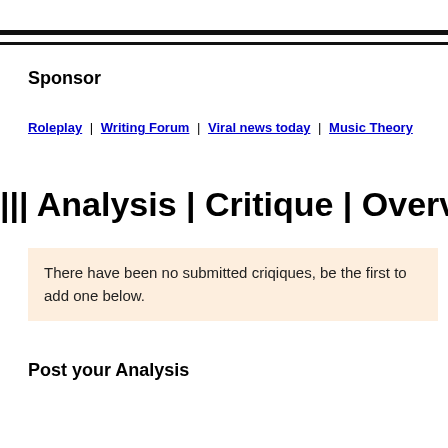Sponsor
Roleplay | Writing Forum | Viral news today | Music Theory
||| Analysis | Critique | Overview Below ||||
There have been no submitted criqiques, be the first to add one below.
Post your Analysis